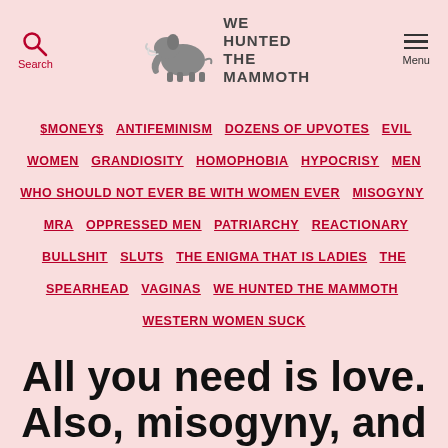Search | WE HUNTED THE MAMMOTH | Menu
$MONEY$ ANTIFEMINISM DOZENS OF UPVOTES EVIL WOMEN GRANDIOSITY HOMOPHOBIA HYPOCRISY MEN WHO SHOULD NOT EVER BE WITH WOMEN EVER MISOGYNY MRA OPPRESSED MEN PATRIARCHY REACTIONARY BULLSHIT SLUTS THE ENIGMA THAT IS LADIES THE SPEARHEAD VAGINAS WE HUNTED THE MAMMOTH WESTERN WOMEN SUCK
All you need is love. Also, misogyny, and a side order of homophobia